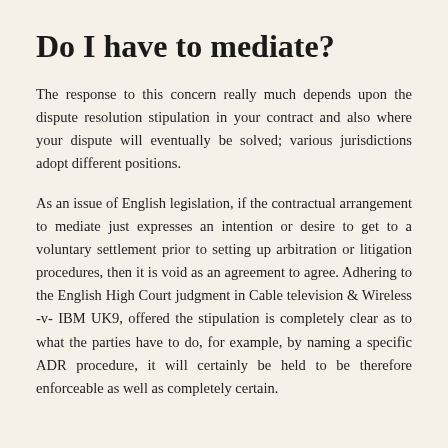Do I have to mediate?
The response to this concern really much depends upon the dispute resolution stipulation in your contract and also where your dispute will eventually be solved; various jurisdictions adopt different positions.
As an issue of English legislation, if the contractual arrangement to mediate just expresses an intention or desire to get to a voluntary settlement prior to setting up arbitration or litigation procedures, then it is void as an agreement to agree. Adhering to the English High Court judgment in Cable television & Wireless -v- IBM UK9, offered the stipulation is completely clear as to what the parties have to do, for example, by naming a specific ADR procedure, it will certainly be held to be therefore enforceable as well as completely certain.